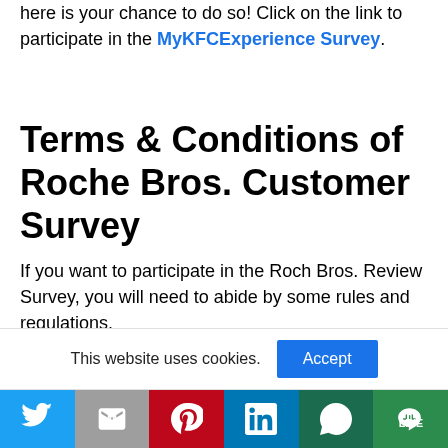here is your chance to do so! Click on the link to participate in the MyKFCExperience Survey.
Terms & Conditions of Roche Bros. Customer Survey
If you want to participate in the Roch Bros. Review Survey, you will need to abide by some rules and regulations.
To participate in the tellrochebros survey, you must be 18 years or older.
This website uses cookies.
[Figure (other): Social share bar with Twitter, Mail, Pinterest, LinkedIn, WhatsApp, and Line buttons]